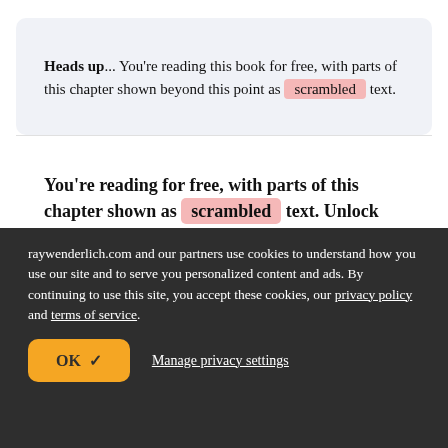Heads up... You're reading this book for free, with parts of this chapter shown beyond this point as scrambled text.
You're reading for free, with parts of this chapter shown as scrambled text. Unlock this book, and our entire
raywenderlich.com and our partners use cookies to understand how you use our site and to serve you personalized content and ads. By continuing to use this site, you accept these cookies, our privacy policy and terms of service.
OK ✓
Manage privacy settings